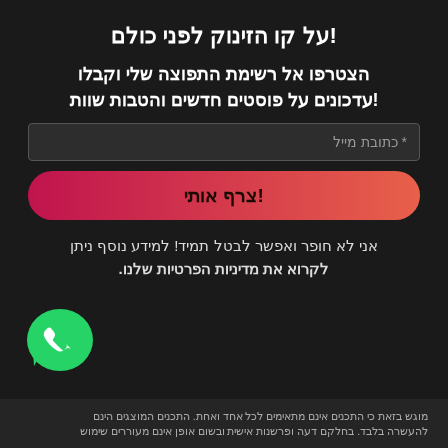!על קו הזינוק לפני כולם
הצטרפו אל רשימת התפוצה שלי וקבלו עדכונים על פוסטים חדשים והטבות שוות!
כתובת מייל *
!צרף אותי
אני לא חופר ואפשר לבטל תמיד! למידע נוסף ניתן לקרוא את מדיניות הפרטיות שלנו.
[Figure (logo): WhatsApp green chat bubble logo]
מוגש בזאת כי התכנים אינם מתאימים לכל אחד ואחת. התכנים המוצגים הינם להעשרה בלבד. בחלקם דעה ופרשנות אישית ובשום אופן אינם מעוררים שימוש